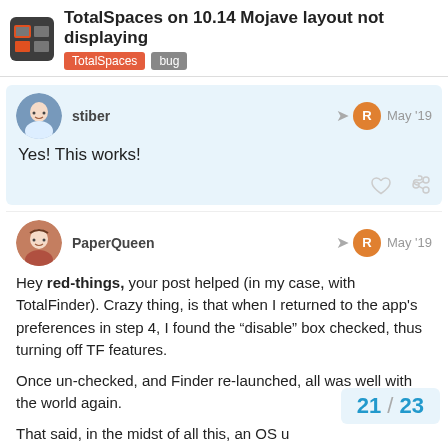TotalSpaces on 10.14 Mojave layout not displaying | TotalSpaces | bug
stiber — May '19
Yes! This works!
PaperQueen — May '19
Hey red-things, your post helped (in my case, with TotalFinder). Crazy thing, is that when I returned to the app's preferences in step 4, I found the "disable" box checked, thus turning off TF features.

Once un-checked, and Finder re-launched, all was well with the world again.

That said, in the midst of all this, an OS u
21 / 23